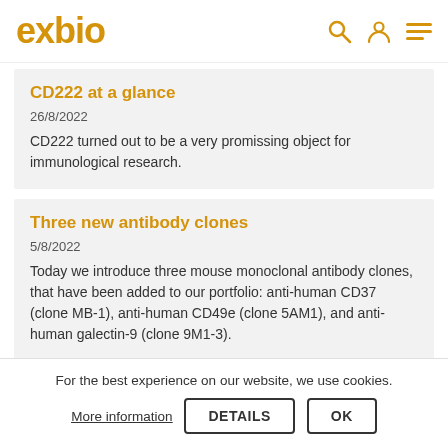exbio
CD222 at a glance
26/8/2022
CD222 turned out to be a very promissing object for immunological research.
Three new antibody clones
5/8/2022
Today we introduce three mouse monoclonal antibody clones, that have been added to our portfolio: anti-human CD37 (clone MB-1), anti-human CD49e (clone 5AM1), and anti-human galectin-9 (clone 9M1-3).
For the best experience on our website, we use cookies.
More information   DETAILS   OK